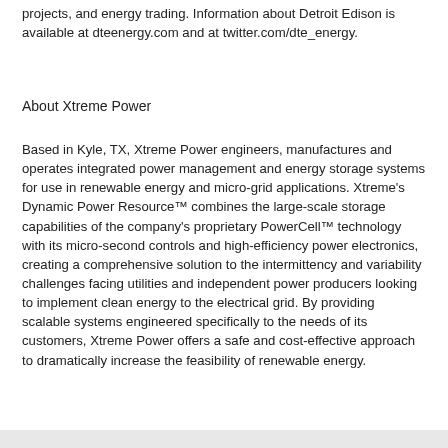projects, and energy trading. Information about Detroit Edison is available at dteenergy.com and at twitter.com/dte_energy.
About Xtreme Power
Based in Kyle, TX, Xtreme Power engineers, manufactures and operates integrated power management and energy storage systems for use in renewable energy and micro-grid applications. Xtreme's Dynamic Power Resource™ combines the large-scale storage capabilities of the company's proprietary PowerCell™ technology with its micro-second controls and high-efficiency power electronics, creating a comprehensive solution to the intermittency and variability challenges facing utilities and independent power producers looking to implement clean energy to the electrical grid. By providing scalable systems engineered specifically to the needs of its customers, Xtreme Power offers a safe and cost-effective approach to dramatically increase the feasibility of renewable energy.